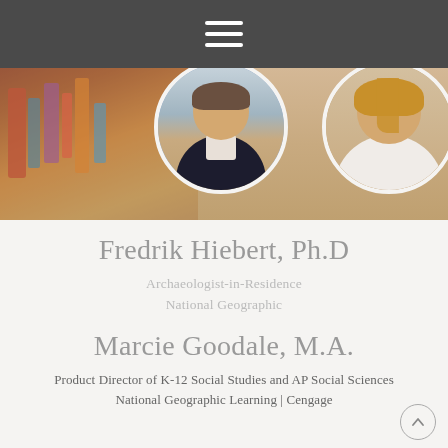Navigation menu
[Figure (photo): Photo strip showing archaeological artifacts on left, circular portrait of male person (Fredrik Hiebert) in center, and circular portrait of female person (Marcie Goodale) on right, against a sandy/earthy background.]
Fredrik Hiebert, Ph.D
Archaeologist-in-Residence
National Geographic
Marcie Goodale, M.A.
Product Director of K-12 Social Studies and AP Social Sciences
National Geographic Learning | Cengage